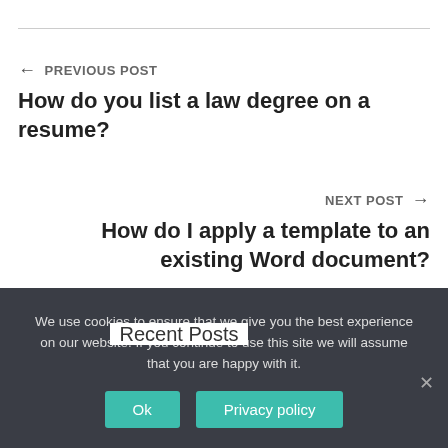← PREVIOUS POST
How do you list a law degree on a resume?
NEXT POST →
How do I apply a template to an existing Word document?
Recent Posts
We use cookies to ensure that we give you the best experience on our website. If you continue to use this site we will assume that you are happy with it.
Ok
Privacy policy